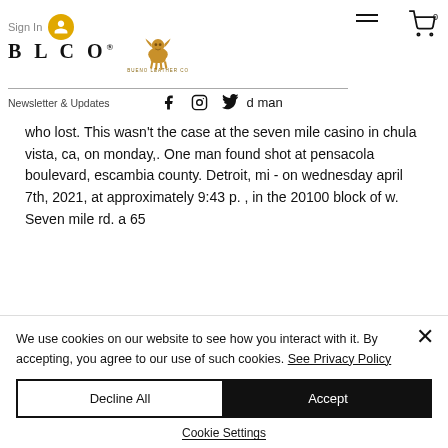Sign In | BLCO® BUENO LEATHER CO
even
nd and.
ot;this
asino
Newsletter & Updates
who lost. This wasn't the case at the seven mile casino in chula vista, ca, on monday,. One man found shot at pensacola boulevard, escambia county. Detroit, mi - on wednesday april 7th, 2021, at approximately 9:43 p. , in the 20100 block of w. Seven mile rd. a 65
We use cookies on our website to see how you interact with it. By accepting, you agree to our use of such cookies. See Privacy Policy
Decline All
Accept
Cookie Settings